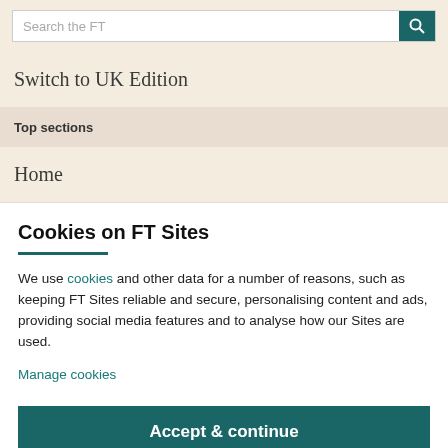Search the FT
Switch to UK Edition
Top sections
Home
Cookies on FT Sites
We use cookies and other data for a number of reasons, such as keeping FT Sites reliable and secure, personalising content and ads, providing social media features and to analyse how our Sites are used.
Manage cookies
Accept & continue